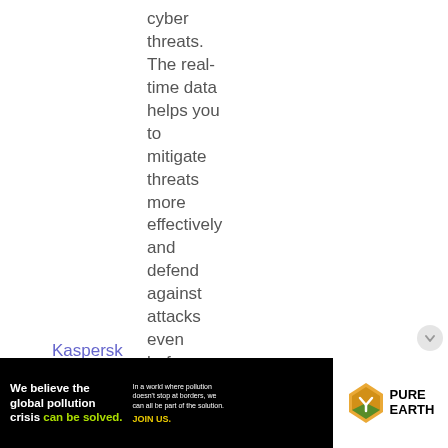cyber threats. The real-time data helps you to mitigate threats more effectively and defend against attacks even before they are
Kaspersky Threat Data Feeds
[Figure (infographic): Advertisement banner for Pure Earth organization. Black background on left with text 'We believe the global pollution crisis can be solved.' in white and green. Middle section with small text about pollution not stopping at borders and 'JOIN US.' in yellow. Right section white background with Pure Earth logo (diamond/shield shape in orange/yellow/green) and 'PURE EARTH' text in black.]